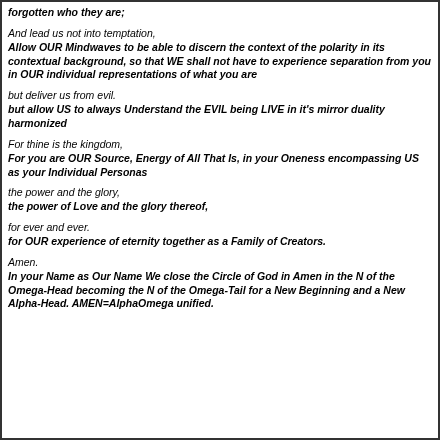forgotten who they are;

And lead us not into temptation,
Allow OUR Mindwaves to be able to discern the context of the polarity in its contextual background, so that WE shall not have to experience separation from you in OUR individual representations of what you are

but deliver us from evil.
but allow US to always Understand the EVIL being LIVE in it's mirror duality harmonized

For thine is the kingdom,
For you are OUR Source, Energy of All That Is, in your Oneness encompassing US as your Individual Personas

the power and the glory,
the power of Love and the glory thereof,

for ever and ever.
for OUR experience of eternity together as a Family of Creators.

Amen.
In your Name as Our Name We close the Circle of God in Amen in the N of the Omega-Head becoming the N of the Omega-Tail for a New Beginning and a New Alpha-Head. AMEN=AlphaOmega unified.